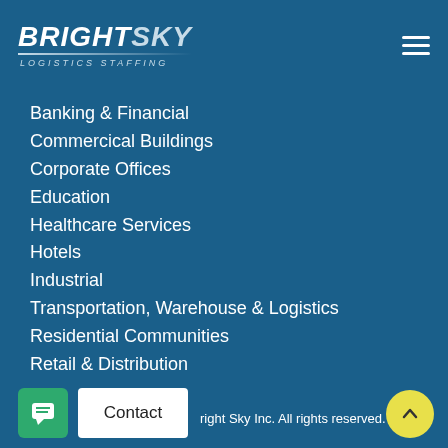[Figure (logo): BrightSky Logistics Staffing logo in white and light blue italic text with underline accent]
Banking & Financial
Commercical Buildings
Corporate Offices
Education
Healthcare Services
Hotels
Industrial
Transportation, Warehouse & Logistics
Residential Communities
Retail & Distribution
right Sky Inc. All rights reserved.